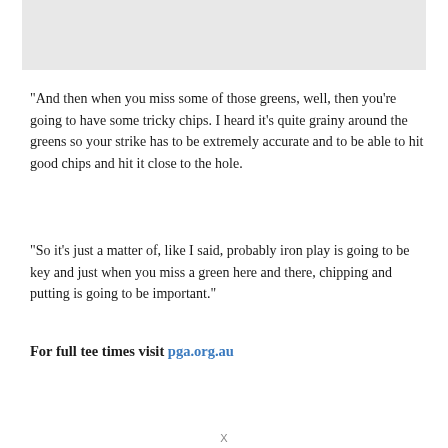[Figure (photo): Gray placeholder image at top of page]
“And then when you miss some of those greens, well, then you’re going to have some tricky chips. I heard it’s quite grainy around the greens so your strike has to be extremely accurate and to be able to hit good chips and hit it close to the hole.
“So it’s just a matter of, like I said, probably iron play is going to be key and just when you miss a green here and there, chipping and putting is going to be important.”
For full tee times visit pga.org.au
X